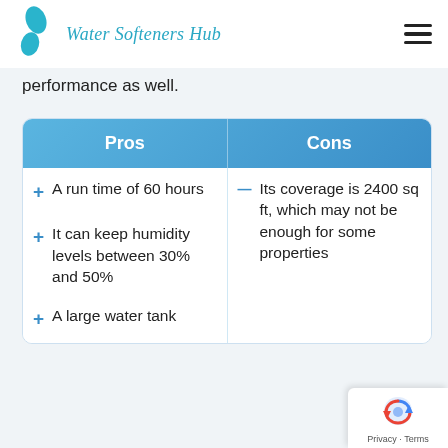Water Softeners Hub
performance as well.
| Pros | Cons |
| --- | --- |
| + A run time of 60 hours
+ It can keep humidity levels between 30% and 50%
+ A large water tank | - Its coverage is 2400 sq ft, which may not be enough for some properties |